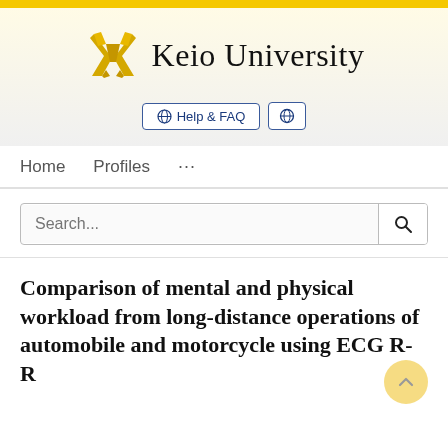[Figure (logo): Keio University logo with crossed pen/quill icon in gold/yellow and university name in serif font]
Help & FAQ
Home   Profiles   ...
Search...
Comparison of mental and physical workload from long-distance operations of automobile and motorcycle using ECG R-R